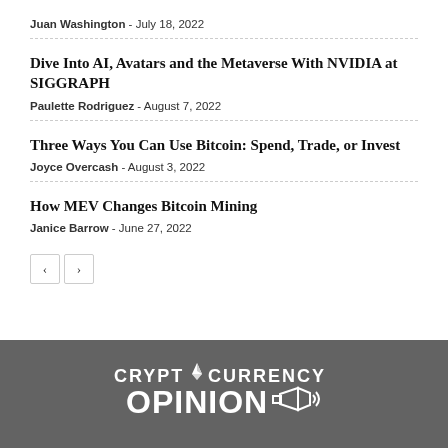Juan Washington - July 18, 2022
Dive Into AI, Avatars and the Metaverse With NVIDIA at SIGGRAPH
Paulette Rodriguez - August 7, 2022
Three Ways You Can Use Bitcoin: Spend, Trade, or Invest
Joyce Overcash - August 3, 2022
How MEV Changes Bitcoin Mining
Janice Barrow - June 27, 2022
[Figure (logo): Cryptocurrency Opinion logo with Ethereum diamond icon and megaphone graphic on dark grey background]